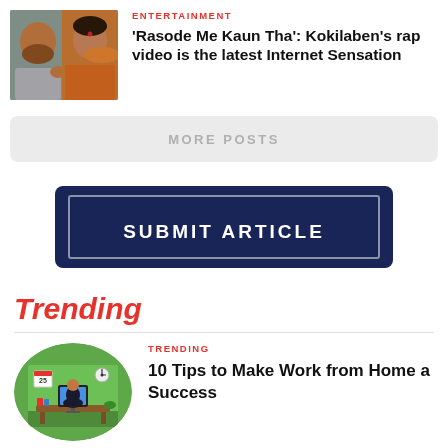[Figure (photo): Photo of two people, a man and a woman in orange/yellow attire, from a TV show]
ENTERTAINMENT
'Rasode Me Kaun Tha': Kokilaben's rap video is the latest Internet Sensation
MORE POSTS
[Figure (other): Submit Article button — dark navy blue button with white border and white bold text SUBMIT ARTICLE]
Trending
TRENDING
10 Tips to Make Work from Home a Success
[Figure (illustration): Circular green illustration of a person working at a desk with a computer, clock on wall, work from home concept]